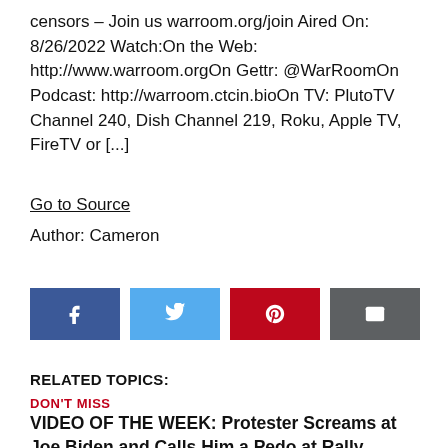censors – Join us warroom.org/join Aired On: 8/26/2022 Watch:On the Web: http://www.warroom.orgOn Gettr: @WarRoomOn Podcast: http://warroom.ctcin.bioOn TV: PlutoTV Channel 240, Dish Channel 219, Roku, Apple TV, FireTV or [...]
Go to Source
Author: Cameron
[Figure (other): Social share buttons: Facebook, Twitter, Pinterest, Email]
RELATED TOPICS:
DON'T MISS
VIDEO OF THE WEEK: Protester Screams at Joe Biden and Calls Him a Pedo at Rally